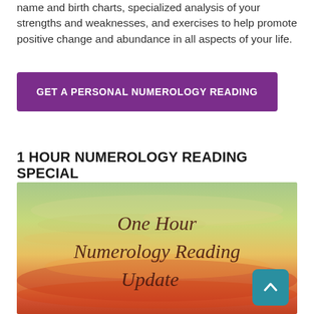name and birth charts, specialized analysis of your strengths and weaknesses, and exercises to help promote positive change and abundance in all aspects of your life.
[Figure (other): Purple button with white uppercase text reading 'GET A PERSONAL NUMEROLOGY READING']
1 HOUR NUMEROLOGY READING SPECIAL
[Figure (photo): Sunset sky image with cursive text reading 'One Hour Numerology Reading Update' and a teal scroll-to-top button in the bottom right corner]